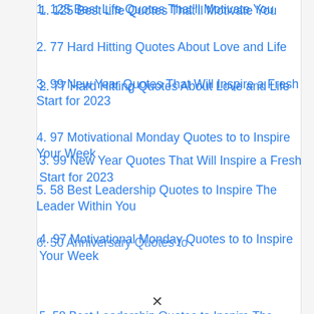1. 125 Best Life Quotes That'll Motivate You
2. 77 Hard Hitting Quotes About Love and Life
3. 99 New Year Quotes That Will Inspire a Fresh Start for 2023
4. 97 Motivational Monday Quotes to to Inspire Your Week
5. 58 Best Leadership Quotes to Inspire The Leader Within You
6. 50 Anniversary Quotes to